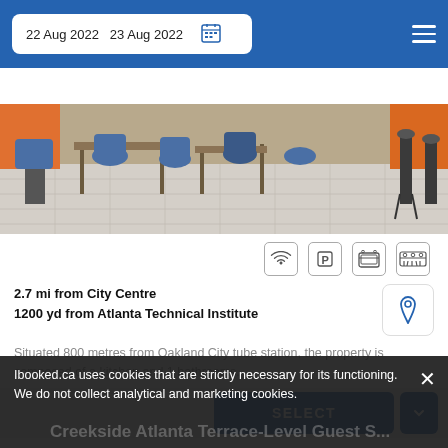22 Aug 2022  23 Aug 2022
Filter by  Sort by  View map
[Figure (photo): Interior photo of a hotel room or common area showing chairs, tables and tiled floor with orange and blue accents]
2.7 mi from City Centre
1200 yd from Atlanta Technical Institute
Situated 800 metres from Oakland City tube station, the property is composed of a kitchen and 1 bathrooms.
SELECT
Ibooked.ca uses cookies that are strictly necessary for its functioning. We do not collect analytical and marketing cookies.
Creekside Atlanta Terrace-Level Guest S...